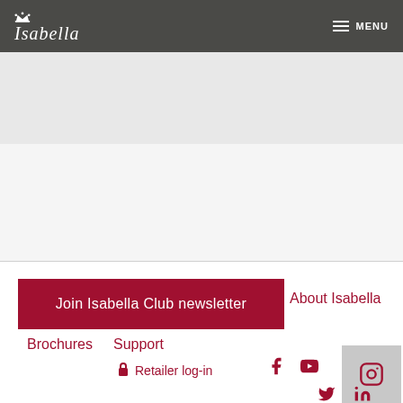Isabella — MENU
Join Isabella Club newsletter
About Isabella
Brochures
Support
Retailer log-in | Facebook | YouTube | Instagram | Twitter | LinkedIn